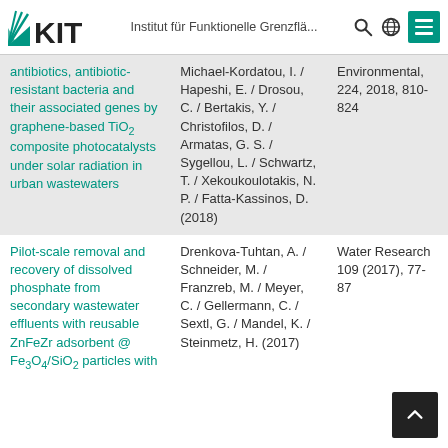KIT — Institut für Funktionelle Grenzflä...
| Title | Authors | Journal |
| --- | --- | --- |
| antibiotics, antibiotic-resistant bacteria and their associated genes by graphene-based TiO2 composite photocatalysts under solar radiation in urban wastewaters | Michael-Kordatou, I. / Hapeshi, E. / Drosou, C. / Bertakis, Y. / Christofilos, D. / Armatas, G. S. / Sygellou, L. / Schwartz, T. / Xekoukoulotakis, N. P. / Fatta-Kassinos, D. (2018) | Environmental, 224, 2018, 810-824 |
| Pilot-scale removal and recovery of dissolved phosphate from secondary wastewater effluents with reusable ZnFeZr adsorbent @ Fe3O4/SiO2 particles with... | Drenkova-Tuhtan, A. / Schneider, M. / Franzreb, M. / Meyer, C. / Gellermann, C. / Sextl, G. / Mandel, K. / Steinmetz, H. (2017) | Water Research 109 (2017), 77-87 |